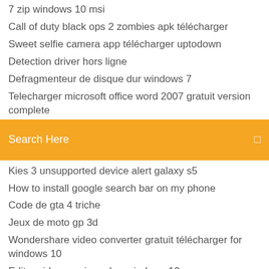7 zip windows 10 msi
Call of duty black ops 2 zombies apk télécharger
Sweet selfie camera app télécharger uptodown
Detection driver hors ligne
Defragmenteur de disque dur windows 7
Telecharger microsoft office word 2007 gratuit version complete
[Figure (screenshot): Orange search bar with white text 'Search Here' and a small white icon on the right]
Kies 3 unsupported device alert galaxy s5
How to install google search bar on my phone
Code de gta 4 triche
Jeux de moto gp 3d
Wondershare video converter gratuit télécharger for windows 10
Editar video movie maker windows 10
Meilleur appli music android
Linux multimedia studio gratuit télécharger
Video téléchargerhelper chrome